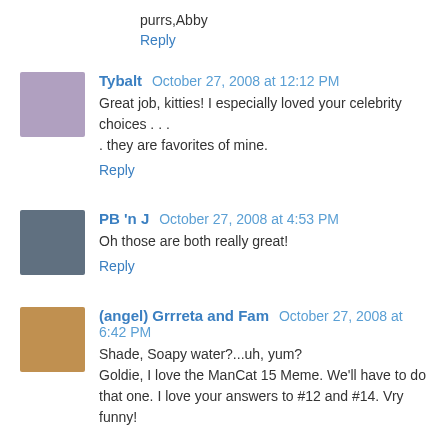purrs,Abby
Reply
Tybalt October 27, 2008 at 12:12 PM
Great job, kitties! I especially loved your celebrity choices . . . they are favorites of mine.
Reply
PB 'n J October 27, 2008 at 4:53 PM
Oh those are both really great!
Reply
(angel) Grrreta and Fam October 27, 2008 at 6:42 PM
Shade, Soapy water?...uh, yum?
Goldie, I love the ManCat 15 Meme. We'll have to do that one. I love your answers to #12 and #14. Vry funny!